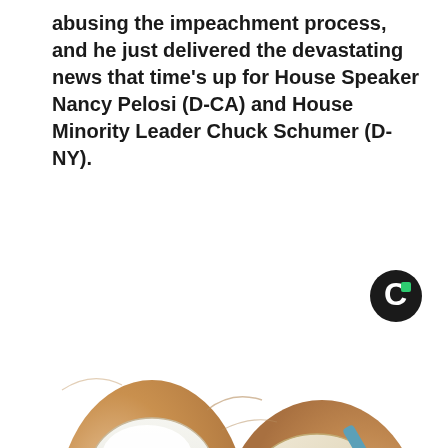abusing the impeachment process, and he just delivered the devastating news that time's up for House Speaker Nancy Pelosi (D-CA) and House Minority Leader Chuck Schumer (D-NY).
[Figure (logo): Circular logo with dark background and green accent, letter C]
[Figure (photo): Close-up illustration of toenails being treated, one healthy white nail and one with cream applied by a blue pen/applicator]
Doctor: if You Have Toenail Fungus, Do This